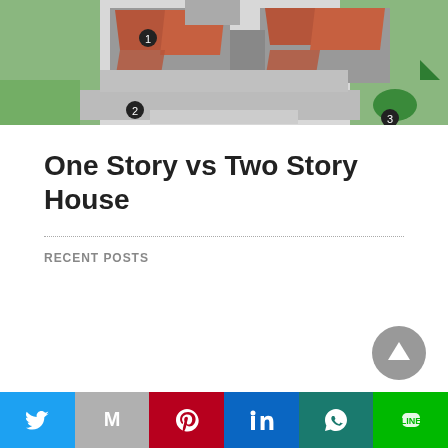[Figure (schematic): Aerial/top-down architectural site plan or house floor plan showing buildings with terracotta roofs, green landscaping, gray pathways, and numbered callout markers (1, 2, 3). Dark and light gray surfaces visible.]
One Story vs Two Story House
RECENT POSTS
[Figure (infographic): Social sharing bar at the bottom with six buttons: Twitter (blue bird icon), Gmail/Google (gray M icon), Pinterest (red pin icon), LinkedIn (blue in icon), WhatsApp (teal phone/leaf icon), Line (green chat icon). Above the bar is a gray circular scroll-to-top arrow button.]